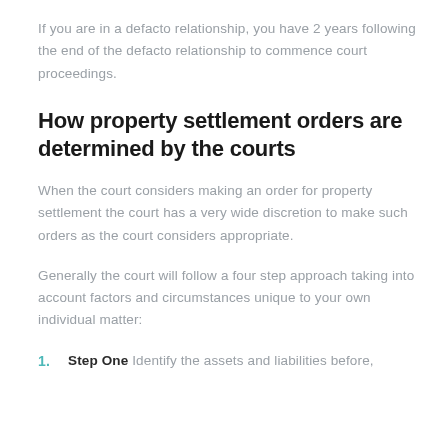If you are in a defacto relationship, you have 2 years following the end of the defacto relationship to commence court proceedings.
How property settlement orders are determined by the courts
When the court considers making an order for property settlement the court has a very wide discretion to make such orders as the court considers appropriate.
Generally the court will follow a four step approach taking into account factors and circumstances unique to your own individual matter:
1. Step One Identify the assets and liabilities before,